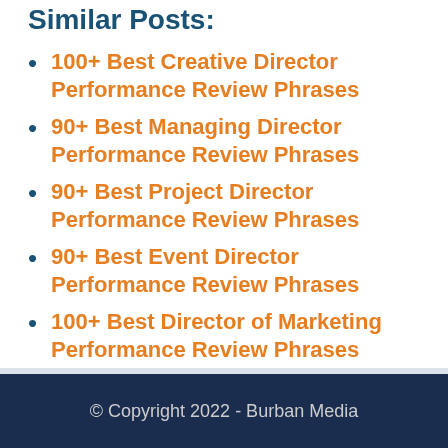Similar Posts:
100+ Best Creative Director Performance Review Phrases
90+ Best Managing Director Performance Review Phrases
90+ Best Project Director Performance Review Phrases
90+ Best Event Director Performance Review Phrases
100+ Best Director of Marketing Performance Review Phrases
© Copyright 2022 - Burban Media